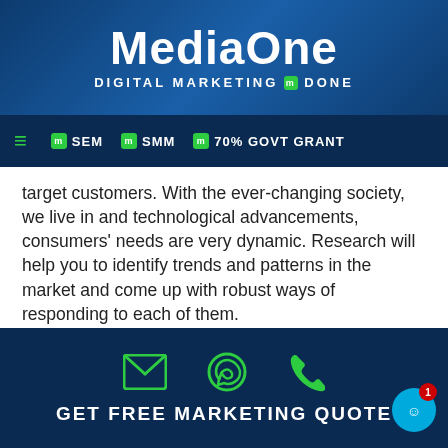MediaOne — DIGITAL MARKETING DONE
SEM  SMM  70% GOVT GRANT
target customers. With the ever-changing society, we live in and technological advancements, consumers' needs are very dynamic. Research will help you to identify trends and patterns in the market and come up with robust ways of responding to each of them.
As you embark on marketing research in Singapore, understand that this is an ongoing process. You also need to focus on not only the customers but also competitors if you are to succeed in managing your brand well.
GET FREE MARKETING QUOTE